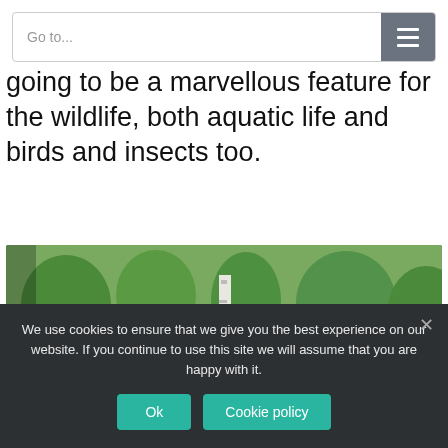Go to...
going to be a marvellous feature for the wildlife, both aquatic life and birds and insects too.
[Figure (photo): Two men in a garden, one crouching with a camera filming close to the ground wearing a green polo shirt and black trousers, the other in a dark navy jumper and jeans bending over, with grass, trees, garden chairs and shrubs in the background.]
We use cookies to ensure that we give you the best experience on our website. If you continue to use this site we will assume that you are happy with it.